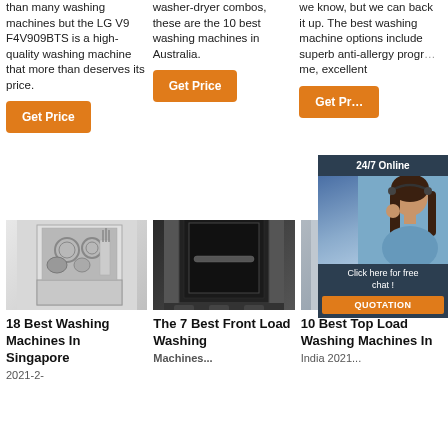than many washing machines but the LG V9 F4V909BTS is a high-quality washing machine that more than deserves its price.
Get Price
washer-dryer combos, these are the 10 best washing machines in Australia.
Get Price
we know, but we can back it up. The best washing machine options include superb anti-allergy programmes, excellent
Get Pr...
[Figure (photo): Chat widget showing a woman with headset and '24/7 Online' label, with 'Click here for free chat!' and 'QUOTATION' button]
[Figure (photo): Open dishwasher filled with dishes and cutlery]
18 Best Washing Machines In Singapore
2021-2-
[Figure (photo): Black front-load oven or washing machine in packaging]
The 7 Best Front Load Washing Machines...
[Figure (photo): Silver top-load washing machine]
10 Best Top Load Washing Machines In India 2021...